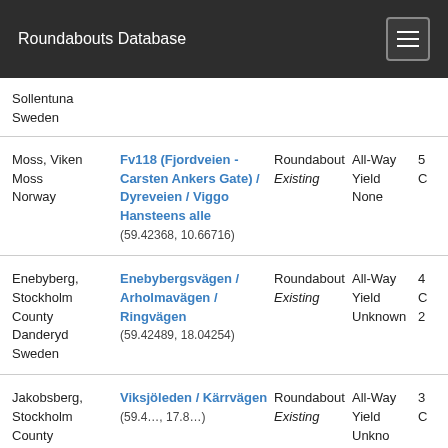Roundabouts Database
Sollentuna
Sweden
| Location | Intersection | Type | Control | Extra |
| --- | --- | --- | --- | --- |
| Moss, Viken
Moss
Norway | Fv118 (Fjordveien - Carsten Ankers Gate) / Dyreveien / Viggo Hansteens alle
(59.42368, 10.66716) | Roundabout
Existing | All-Way
Yield
None | 5
C |
| Enebyberg, Stockholm County
Danderyd
Sweden | Enebybergsvägen / Arholmavägen / Ringvägen
(59.42489, 18.04254) | Roundabout
Existing | All-Way
Yield
Unknown | 4
C
2 |
| Jakobsberg, Stockholm County | Viksjöleden / Kärrvägen
(59.4..., 17.8...) | Roundabout
Existing | All-Way
Yield
Unkno | 3
C |